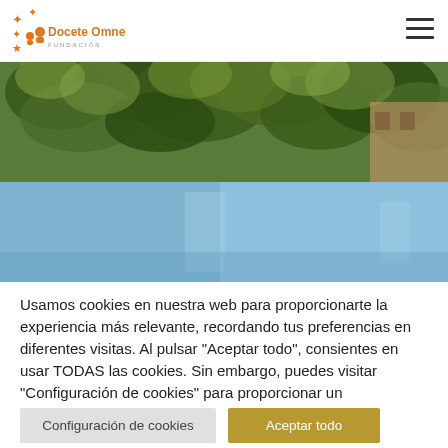[Figure (logo): Docete Omnes Fundación logo with orange star/people icons and orange text]
[Figure (photo): A photo banner showing green leafy plants and a building in the background]
[Figure (photo): A blue-tinted decorative band showing a blurred interior space]
Usamos cookies en nuestra web para proporcionarte la experiencia más relevante, recordando tus preferencias en diferentes visitas. Al pulsar "Aceptar todo", consientes en usar TODAS las cookies. Sin embargo, puedes visitar "Configuración de cookies" para proporcionar un consentimiento controlado.
Configuración de cookies
Aceptar todo